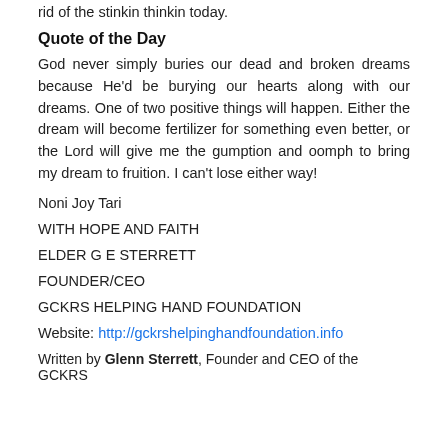rid of the stinkin thinkin today.
Quote of the Day
God never simply buries our dead and broken dreams because He'd be burying our hearts along with our dreams. One of two positive things will happen. Either the dream will become fertilizer for something even better, or the Lord will give me the gumption and oomph to bring my dream to fruition. I can't lose either way!
Noni Joy Tari
WITH HOPE AND FAITH
ELDER G E STERRETT
FOUNDER/CEO
GCKRS HELPING HAND FOUNDATION
Website: http://gckrshelpinghandfoundation.info
Written by Glenn Sterrett, Founder and CEO of the GCKRS